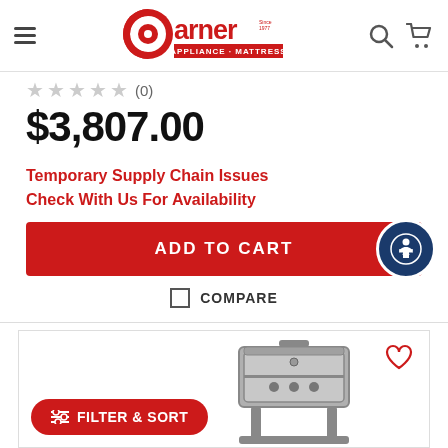Garner Appliance & Mattress
★★★★★ (0)
$3,807.00
Temporary Supply Chain Issues
Check With Us For Availability
ADD TO CART
COMPARE
[Figure (screenshot): Bottom portion of a product listing page showing a grill image, heart/wishlist icon, and a red Filter & Sort button]